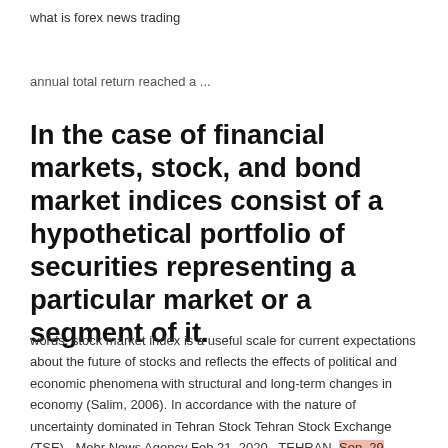what is forex news trading
annual total return reached a ...
In the case of financial markets, stock, and bond market indices consist of a hypothetical portfolio of securities representing a particular market or a segment of it.
words, stock market index is a useful scale for current expectations about the future of stocks and reflects the effects of political and economic phenomena with structural and long-term changes in economy (Salim, 2006). In accordance with the nature of uncertainty dominated in Tehran Stock Tehran Stock Exchange (TSE) - Mehr News Agency Feb 21, 2020 · TEHRAN, Sep. 29 (MNA) – While lagging the parallel markets of foreign